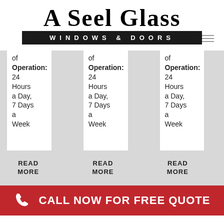[Figure (logo): A Seel Glass Windows & Doors logo — large serif text 'A SEEL GLASS' above a black bar reading 'WINDOWS & DOORS' in spaced white caps]
of Operation: 24 Hours a Day, 7 Days a Week
of Operation: 24 Hours a Day, 7 Days a Week
of Operation: 24 Hours a Day, 7 Days a Week
READ MORE
READ MORE
READ MORE
CALL NOW FOR FREE QUOTE